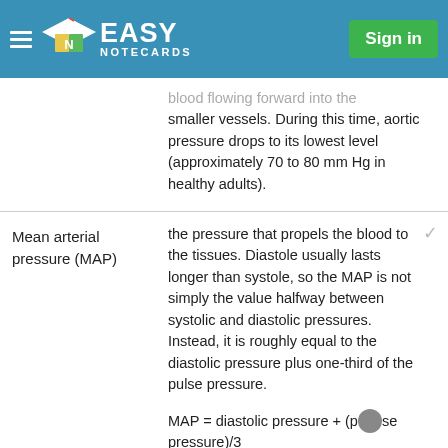Easy Notecards — Sign in
blood flowing forward into the smaller vessels. During this time, aortic pressure drops to its lowest level (approximately 70 to 80 mm Hg in healthy adults).
Mean arterial pressure (MAP)
the pressure that propels the blood to the tissues. Diastole usually lasts longer than systole, so the MAP is not simply the value halfway between systolic and diastolic pressures. Instead, it is roughly equal to the diastolic pressure plus one-third of the pulse pressure.